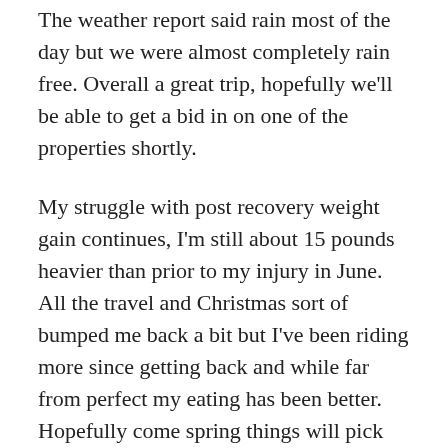The weather report said rain most of the day but we were almost completely rain free. Overall a great trip, hopefully we'll be able to get a bid in on one of the properties shortly.
My struggle with post recovery weight gain continues, I'm still about 15 pounds heavier than prior to my injury in June. All the travel and Christmas sort of bumped me back a bit but I've been riding more since getting back and while far from perfect my eating has been better. Hopefully come spring things will pick up.
My winter ride tip for everyone: If you can't go where you want to ride, ride where you are.
I haven't been able to get out much to ride so I've been doing a lot of local riding from the house. My suggestion is simple, find local close in routes you